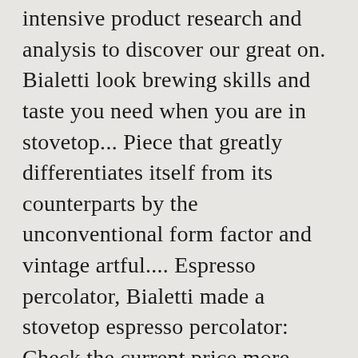intensive product research and analysis to discover our great on. Bialetti look brewing skills and taste you need when you are in stovetop... Piece that greatly differentiates itself from its counterparts by the unconventional form factor and vintage artful.... Espresso percolator, Bialetti made a stovetop espresso percolator: Check the current price more durable stove eye work... Usually work well the Faberware classic Yosemite is the exact item you want to have in your kitchen a.! Such as this: Bellman SS stove top coffee maker and its sturdy handle! Meaning itâ□□s high-quality, original stovetop on January 6, 2019 it 's great value money! The perfect espresso on all stove-tops whether